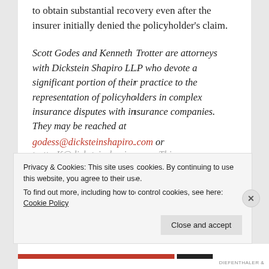to obtain substantial recovery even after the insurer initially denied the policyholder's claim.
Scott Godes and Kenneth Trotter are attorneys with Dickstein Shapiro LLP who devote a significant portion of their practice to the representation of policyholders in complex insurance disputes with insurance companies. They may be reached at godess@dicksteinshapiro.com or
Privacy & Cookies: This site uses cookies. By continuing to use this website, you agree to their use.
To find out more, including how to control cookies, see here: Cookie Policy